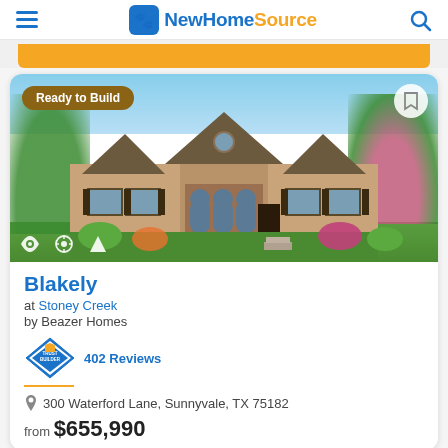NewHomeSource
[Figure (photo): Exterior rendering of a brick and stone single-story home (Blakely model) with arched windows, mixed stone facade, brown shingle roof, green landscaping and flowers. Badge reads 'Ready to Build'.]
Blakely
at Stoney Creek
by Beazer Homes
TrustBuilder 402 Reviews
300 Waterford Lane, Sunnyvale, TX 75182
from $655,990